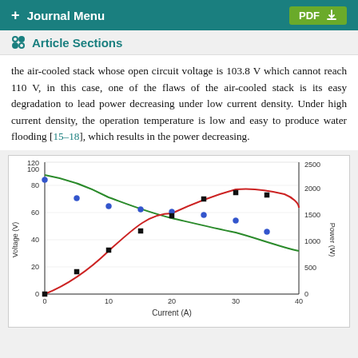+ Journal Menu  PDF
Article Sections
the air-cooled stack whose open circuit voltage is 103.8 V which cannot reach 110 V, in this case, one of the flaws of the air-cooled stack is its easy degradation to lead power decreasing under low current density. Under high current density, the operation temperature is low and easy to produce water flooding [15–18], which results in the power decreasing.
[Figure (continuous-plot): Dual-axis chart showing Voltage (V) on left y-axis (0-120) and Power (W) on right y-axis (0-2500) vs Current (A) on x-axis (0-40). Green curve shows voltage decreasing from ~108V at 0A to ~42V at 40A. Red curve shows power increasing then decreasing, peaking around 30A at ~2000W. Blue scatter points show measured voltage data points declining with current. Black square scatter points show measured power data points.]